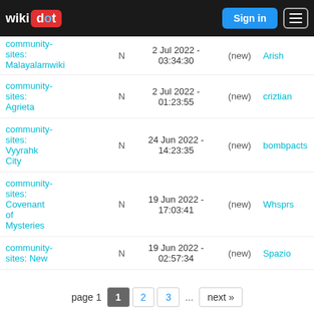wikidot — Sign in [menu]
| Site | N | Date |  | User |
| --- | --- | --- | --- | --- |
| community-sites: Malayalamwiki | N | 2 Jul 2022 - 03:34:30 | (new) | Arish |
| community-sites: Agrieta | N | 2 Jul 2022 - 01:23:55 | (new) | criztian |
| community-sites: Vyyrahk City | N | 24 Jun 2022 - 14:23:35 | (new) | bombpacts |
| community-sites: Covenant of Mysteries | N | 19 Jun 2022 - 17:03:41 | (new) | Whsprs |
| community-sites: New | N | 19 Jun 2022 - 02:57:34 | (new) | Spazio |
page 1  1  2  3  ...  next »